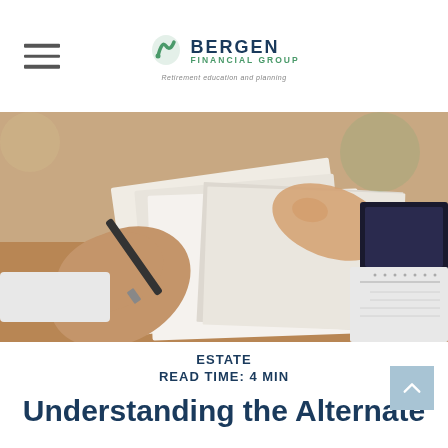Bergen Financial Group — Retirement education and planning
[Figure (photo): Close-up photo of hands signing or reviewing documents with a pen, papers and a laptop visible on a desk in the background.]
ESTATE
READ TIME: 4 MIN
Understanding the Alternate